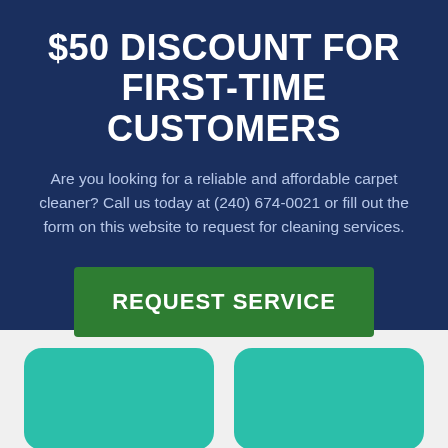$50 DISCOUNT FOR FIRST-TIME CUSTOMERS
Are you looking for a reliable and affordable carpet cleaner? Call us today at (240) 674-0021 or fill out the form on this website to request for cleaning services.
[Figure (other): Green call-to-action button labeled REQUEST SERVICE]
[Figure (other): Two teal rounded rectangle cards at the bottom of the page]